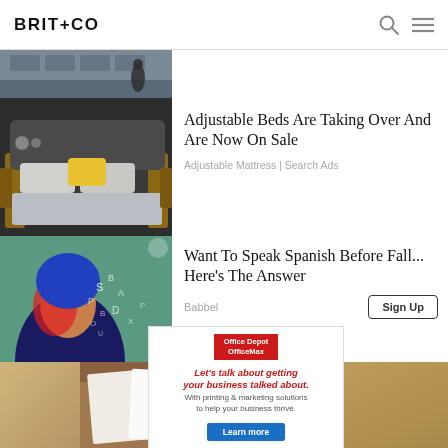BRIT+CO
[Figure (photo): Partial view of a rooftop with dark shingles and a person]
[Figure (photo): Adjustable platform bed with yellow pillow and grey bedding]
Adjustable Beds Are Taking Over And Are Now On Sale
Adjustable Mattress | Search Ads
[Figure (photo): Woman with blue hair against red/green background with letters]
Want To Speak Spanish Before Fall... Here's The Answer
Babbel
[Figure (infographic): Office Depot OfficeMax advertisement — Let's talk about getting your business talked about. With printing & marketing solutions to help your business thrive. Learn more.]
[Figure (photo): Person working with papers and stationery on wooden desk]
[Figure (photo): Sandy texture / beach sand]
[Figure (photo): Sandy texture / beach sand 2]